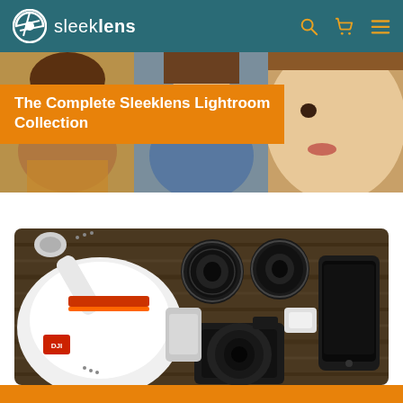sleeklens
[Figure (photo): Hero banner showing three portrait photos of people, with orange overlay banner reading 'The Complete Sleeklens Lightroom Collection']
The Complete Sleeklens Lightroom Collection
[Figure (photo): Flat lay photo on wooden surface showing a white DJI drone, two camera lenses, a camera body with lens, and a smartphone]